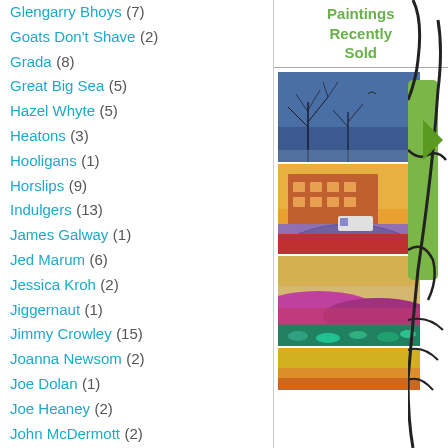Glengarry Bhoys (7)
Goats Don't Shave (2)
Grada (8)
Great Big Sea (5)
Hazel Whyte (5)
Heatons (3)
Hooligans (1)
Horslips (9)
Indulgers (13)
James Galway (1)
Jed Marum (6)
Jessica Kroh (2)
Jiggernaut (1)
Jimmy Crowley (15)
Joanna Newsom (2)
Joe Dolan (1)
Joe Heaney (2)
John McDermott (2)
John Morris (20)
John Spillane (13)
Jonathan Ramsey (15)
Kelihans (56)
Kelly (43)
Kieran O'Hare (1)
Kila (12)
Killdares (1)
Kirk Lynch (2)
Paintings Recently Sold
[Figure (photo): Blue winter sky painting with bare tree branches and a bird]
[Figure (photo): Colourful urban bridge scene painting with yellow sky]
[Figure (photo): Landscape painting with purple and teal fields]
[Figure (photo): Partial painting with yellow-orange tones]
[Figure (illustration): Cartoon figure illustration in green and black on right side]